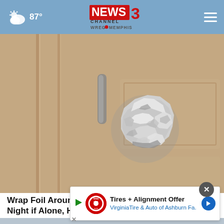87° NEWS CHANNEL 3 WREG MEMPHIS
[Figure (photo): Close-up photo of a wooden door with a door knob wrapped in aluminum/tin foil, crinkled silver foil covering the knob. A silver door handle is visible above.]
Wrap Foil Around Your Doorknob at Night if Alone, Here's Why
Sogoodbytheway
[Figure (infographic): Advertisement overlay: Tires + Alignment Offer - Virginia Tire & Auto of Ashburn Fa. with Tires Plus auto logo and blue arrow button. Has an X close button.]